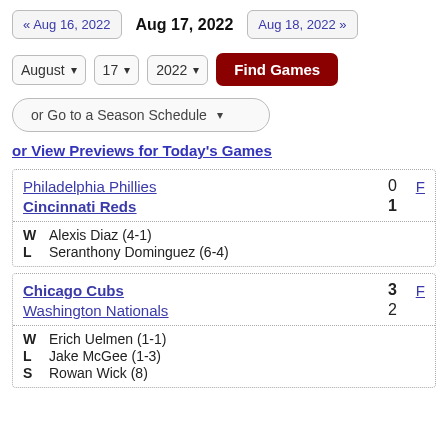« Aug 16, 2022   Aug 17, 2022   Aug 18, 2022 »
August  17  2022  Find Games
or Go to a Season Schedule
or View Previews for Today's Games
| Team | Score | F |
| --- | --- | --- |
| Philadelphia Phillies | 0 | F |
| Cincinnati Reds | 1 |  |
| W  Alexis Diaz (4-1) |  |  |
| L  Seranthony Dominguez (6-4) |  |  |
| Team | Score | F |
| --- | --- | --- |
| Chicago Cubs | 3 | F |
| Washington Nationals | 2 |  |
| W  Erich Uelmen (1-1) |  |  |
| L  Jake McGee (1-3) |  |  |
| S  Rowan Wick (8) |  |  |